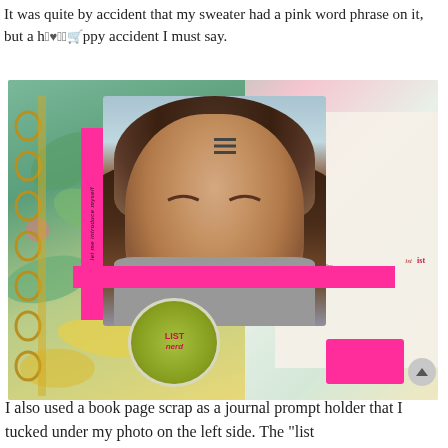It was quite by accident that my sweater had a pink word phrase on it, but a happy accident I must say.
[Figure (photo): A scrapbook journal page with a photo of a young woman with dark curly hair, eyes closed, wearing a gray sweater. The journal page has floral background paper, a pink strip, a 'LIST nerd' badge/sticker in green, vertical text on a pink tab reading 'let me introduce myself', binder rings on the left, and a book page text collage on the right. A hamburger menu icon is visible at the top center.]
I also used a book page scrap as a journal prompt holder that I tucked under my photo on the left side. The "list